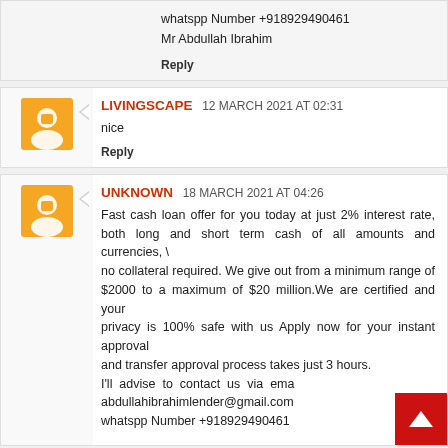whatspp Number +918929490461
Mr Abdullah Ibrahim
Reply
LIVINGSCAPE  12 MARCH 2021 AT 02:31
nice
Reply
UNKNOWN  18 MARCH 2021 AT 04:26
Fast cash loan offer for you today at just 2% interest rate, both long and short term cash of all amounts and currencies, \ no collateral required. We give out from a minimum range of $2000 to a maximum of $20 million.We are certified and your privacy is 100% safe with us Apply now for your instant approval and transfer approval process takes just 3 hours. I'll advise to contact us via email: abdullahibrahimlender@gmail.com whatspp Number +918929490461